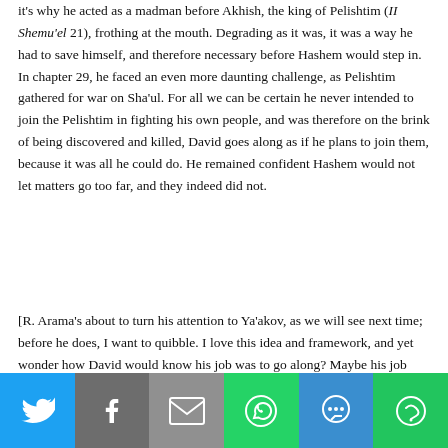it's why he acted as a madman before Akhish, the king of Pelishtim (II Shemu'el 21), frothing at the mouth. Degrading as it was, it was a way he had to save himself, and therefore necessary before Hashem would step in. In chapter 29, he faced an even more daunting challenge, as Pelishtim gathered for war on Sha'ul. For all we can be certain he never intended to join the Pelishtim in fighting his own people, and was therefore on the brink of being discovered and killed, David goes along as if he plans to join them, because it was all he could do. He remained confident Hashem would not let matters go too far, and they indeed did not.
[R. Arama's about to turn his attention to Ya'akov, as we will see next time; before he does, I want to quibble. I love this idea and framework, and yet wonder how David would know his job was to go along? Maybe his job was to stand up to Akhish, say he could never battle the anointed king of Israel, as he did on other occasions.
R. Arama seems to me to be saying the way to earn
[Figure (infographic): Social media sharing bar with Twitter, Facebook, Email, WhatsApp, SMS, and More buttons]